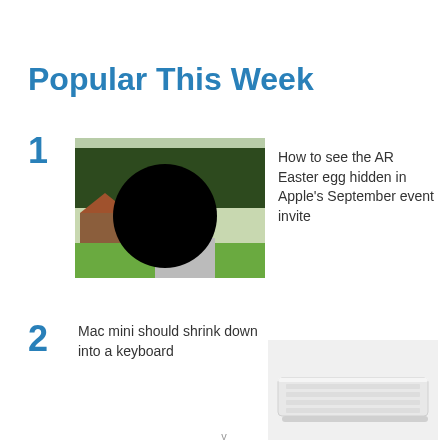Popular This Week
1  How to see the AR Easter egg hidden in Apple's September event invite
[Figure (photo): Outdoor photo with a large black circular blur/redaction in the center, showing trees and a house in the background with green grass]
2  Mac mini should shrink down into a keyboard
[Figure (photo): White Apple keyboard shown from a slight angle against a light gray background]
v